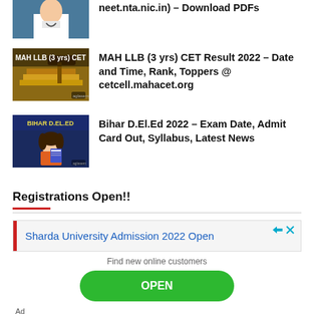[Figure (photo): Partial thumbnail of a person in white coat (doctor/medical professional), cropped at top]
neet.nta.nic.in) – Download PDFs
[Figure (photo): Thumbnail image with text 'MAH LLB (3 yrs) CET' and a gavel on books background]
MAH LLB (3 yrs) CET Result 2022 – Date and Time, Rank, Toppers @ cetcell.mahacet.org
[Figure (photo): Thumbnail image with dark blue background and text 'BIHAR D.EL.ED' with cartoon student illustration]
Bihar D.El.Ed 2022 – Exam Date, Admit Card Out, Syllabus, Latest News
Registrations Open!!
Sharda University Admission 2022 Open
Find new online customers
OPEN
Ad